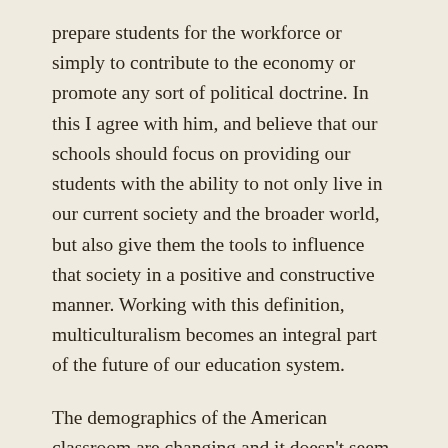prepare students for the workforce or simply to contribute to the economy or promote any sort of political doctrine. In this I agree with him, and believe that our schools should focus on providing our students with the ability to not only live in our current society and the broader world, but also give them the tools to influence that society in a positive and constructive manner. Working with this definition, multiculturalism becomes an integral part of the future of our education system.
The demographics of the American classroom are changing and it doesn't seem to be stopping any time soon. The estimated number of foreigners in the US quadrupled from 9.6 million to 41.3 million from 1970 to 2013. (Alismail 1) Given the refugee crises going